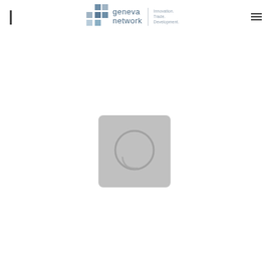[Figure (logo): Geneva Network logo with blue/grey mosaic cross icon and text 'geneva network' with tagline 'Innovation. Trade. Development.']
[Figure (other): Grey rounded square placeholder image with a circular lens/loading icon in center]